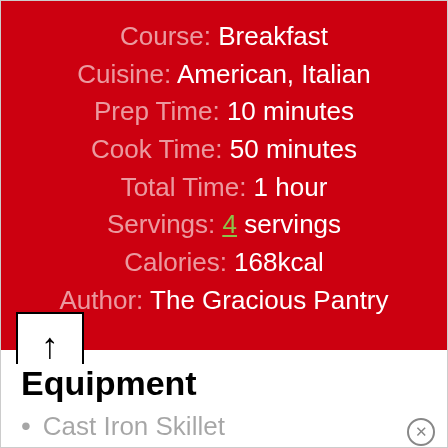Course: Breakfast
Cuisine: American, Italian
Prep Time: 10 minutes
Cook Time: 50 minutes
Total Time: 1 hour
Servings: 4 servings
Calories: 168kcal
Author: The Gracious Pantry
Equipment
Cast Iron Skillet